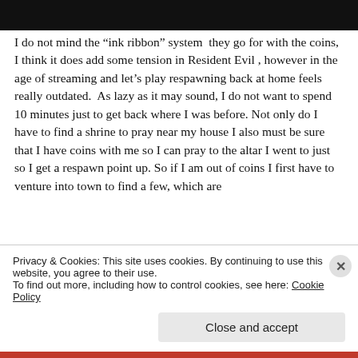[Figure (photo): Dark screenshot or image at the top of the page, mostly black]
I do not mind the “ink ribbon” system  they go for with the coins, I think it does add some tension in Resident Evil , however in the age of streaming and let’s play respawning back at home feels really outdated.  As lazy as it may sound, I do not want to spend 10 minutes just to get back where I was before. Not only do I have to find a shrine to pray near my house I also must be sure that I have coins with me so I can pray to the altar I went to just so I get a respawn point up. So if I am out of coins I first have to venture into town to find a few, which are
Privacy & Cookies: This site uses cookies. By continuing to use this website, you agree to their use.
To find out more, including how to control cookies, see here: Cookie Policy
Close and accept